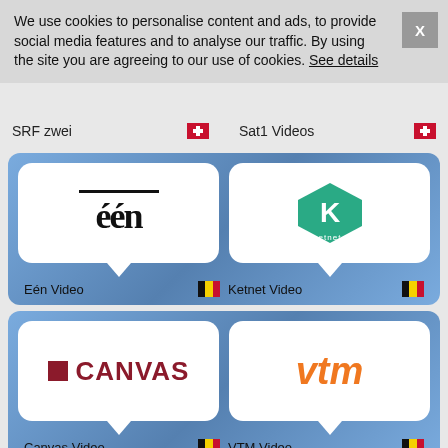We use cookies to personalise content and ads, to provide social media features and to analyse our traffic. By using the site you are agreeing to our use of cookies. See details
SRF zwei
Sat1 Videos
[Figure (logo): EÉN Belgian TV channel logo — stylized text 'één' in black serif font]
Eén Video
[Figure (logo): Ketnet logo — green diamond/arrow shape with white K letter]
Ketnet Video
[Figure (logo): Canvas Belgian TV channel logo — dark red square icon followed by CANVAS text in dark red]
Canvas Video
[Figure (logo): VTM Belgian TV channel logo — orange italic bold text vtm]
VTM Video